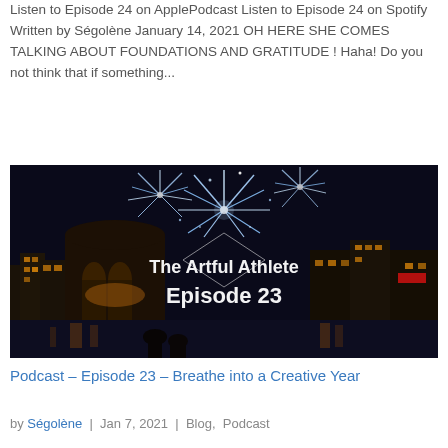Listen to Episode 24 on ApplePodcast Listen to Episode 24 on Spotify Written by Ségolène January 14, 2021 OH HERE SHE COMES TALKING ABOUT FOUNDATIONS AND GRATITUDE ! Haha! Do you not think that if something...
[Figure (photo): Night photo showing fireworks over a waterfront cityscape with two silhouetted figures in the foreground, overlaid with text 'The Artful Athlete Episode 23']
Podcast – Episode 23 – Breathe into a Creative Year
by Ségolène  |  Jan 7, 2021  |  Blog,  Podcast